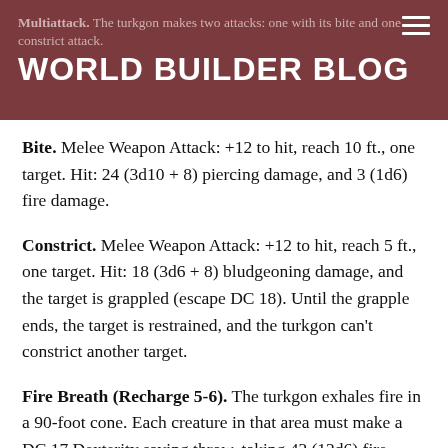Multiattack. The turkgon makes two attacks: one with its bite and one constrict attack.
WORLD BUILDER BLOG
Bite. Melee Weapon Attack: +12 to hit, reach 10 ft., one target. Hit: 24 (3d10 + 8) piercing damage, and 3 (1d6) fire damage.
Constrict. Melee Weapon Attack: +12 to hit, reach 5 ft., one target. Hit: 18 (3d6 + 8) bludgeoning damage, and the target is grappled (escape DC 18). Until the grapple ends, the target is restrained, and the turkgon can't constrict another target.
Fire Breath (Recharge 5-6). The turkgon exhales fire in a 90-foot cone. Each creature in that area must make a DC 17 Dexterity saving throw, taking 42 (12d6) fire